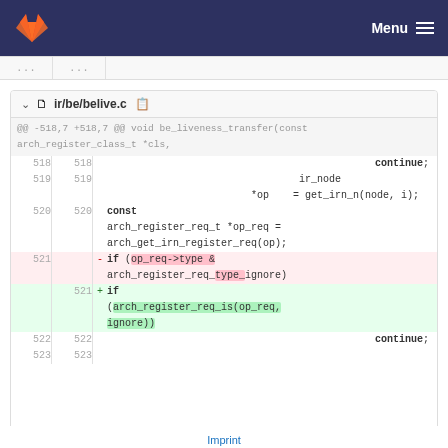GitLab — Menu
[Figure (screenshot): GitLab diff view of ir/be/belive.c showing lines 518-523 with a deletion on line 521 (if (op_req->type & arch_register_req_type_ignore)) replaced by an addition (if (arch_register_req_is(op_req, ignore)))]
Imprint